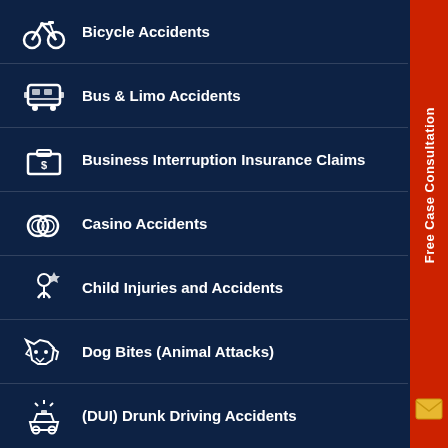Bicycle Accidents
Bus & Limo Accidents
Business Interruption Insurance Claims
Casino Accidents
Child Injuries and Accidents
Dog Bites (Animal Attacks)
(DUI) Drunk Driving Accidents
[Figure (illustration): Red sidebar with 'Free Case Consultation' text rotated vertically and envelope icon at bottom]